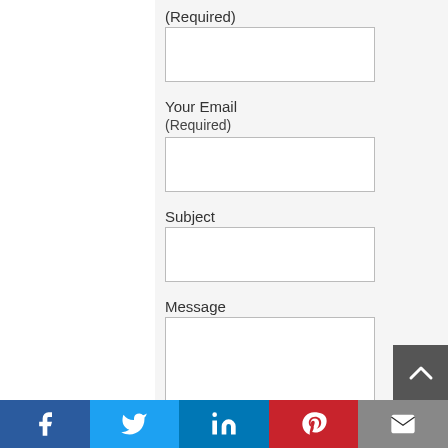(Required)
[Figure (other): Empty text input field for name]
Your Email
(Required)
[Figure (other): Empty text input field for email]
Subject
[Figure (other): Empty text input field for subject]
Message
[Figure (other): Empty textarea for message]
[Figure (other): Social share bar with Facebook, Twitter, LinkedIn, Pinterest, and Email icons]